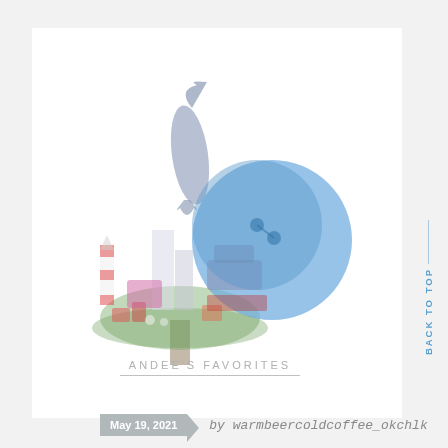[Figure (illustration): Whimsical illustration of a tree-like structure decorated with New England nautical items: a fish/whale on top, a lighthouse, colorful buildings, a wreath at the base, overlaid with a large blue circle/button element]
BACK TO TOP
ANDEE'S FAVORITES
May 19, 2021
by warmbeercoldcoffee_okchlk